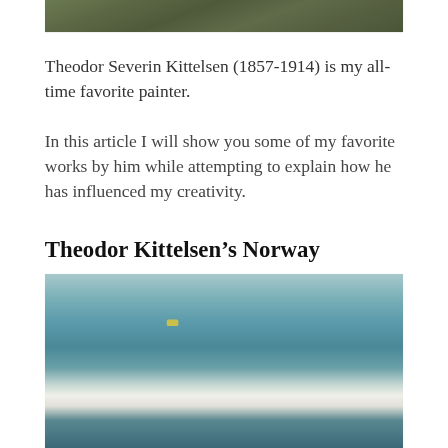[Figure (photo): Close-up photograph of a textured dark olive/green surface, possibly tree bark or fabric]
Theodor Severin Kittelsen (1857-1914) is my all-time favorite painter.
In this article I will show you some of my favorite works by him while attempting to explain how he has influenced my creativity.
Theodor Kittelsen’s Norway
[Figure (photo): Painting showing a Norwegian landscape with teal/blue sky and water, with white clouds and a small yellow highlight near the horizon]